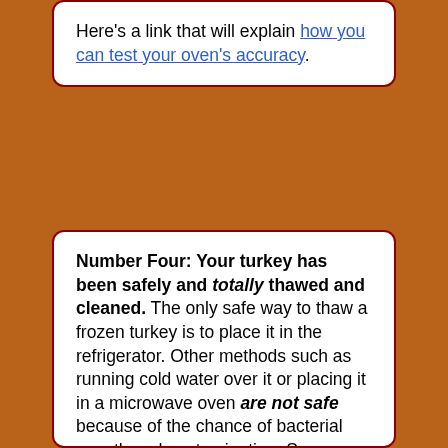Here's a link that will explain how you can test your oven's accuracy.
Number Four: Your turkey has been safely and totally thawed and cleaned. The only safe way to thaw a frozen turkey is to place it in the refrigerator. Other methods such as running cold water over it or placing it in a microwave oven are not safe because of the chance of bacterial growth and contamination. So, because of that risk, I will only give you guidelines using the refrigerator